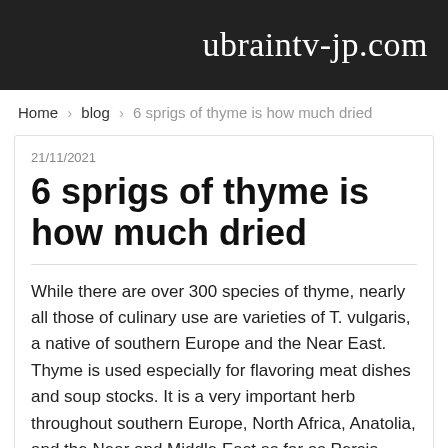ubraintv-jp.com
Home › blog › 6 sprigs of thyme is how much dried
21/11/2021
6 sprigs of thyme is how much dried
While there are over 300 species of thyme, nearly all those of culinary use are varieties of T. vulgaris, a native of southern Europe and the Near East. Thyme is used especially for flavoring meat dishes and soup stocks. It is a very important herb throughout southern Europe, North Africa, Anatolia, and the Near and Middle East as far as Persia, then tapering off into India. It is also important in the Caribbean